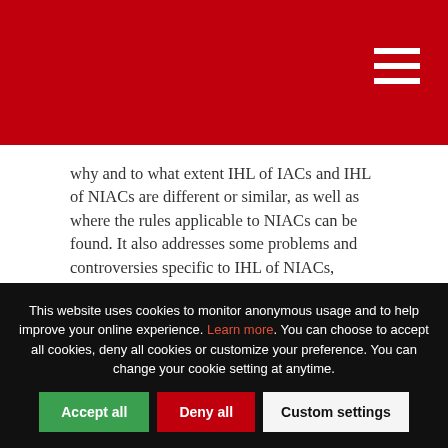why and to what extent IHL of IACs and IHL of NIACs are different or similar, as well as where the rules applicable to NIACs can be found. It also addresses some problems and controversies specific to IHL of NIACs, including the difficulty to ensure the respect of IHL by armed non-state actors.
THE IMPLEMENTATION OF INTERNATIONAL HUMANITARIAN LAW
LINDSEY CAMERON
This website uses cookies to monitor anonymous usage and to help improve your online experience. Learn more. You can choose to accept all cookies, deny all cookies or customize your preference. You can change your cookie setting at anytime.